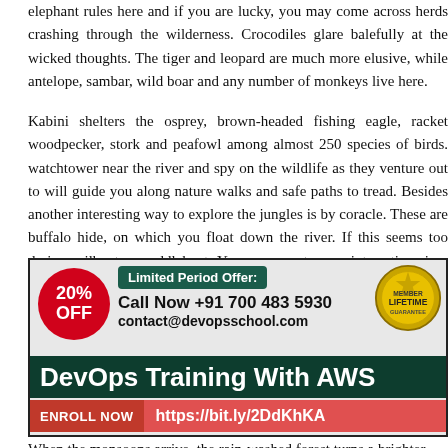elephant rules here and if you are lucky, you may come across herds crashing through the wilderness. Crocodiles glare balefully at the wicked thoughts. The tiger and leopard are much more elusive, while antelope, sambar, wild boar and any number of monkeys live here.
Kabini shelters the osprey, brown-headed fishing eagle, racket woodpecker, stork and peafowl among almost 250 species of birds. watchtower near the river and spy on the wildlife as they venture out to will guide you along nature walks and safe paths to tread. Besides another interesting way to explore the jungles is by coracle. These are buffalo hide, on which you float down the river. If this seems too daring sailboat or paddleboat. You may meet some interesting river creatures
[Figure (infographic): Advertisement for DevOps Training with AWS. Contains a red 20% OFF circle badge, a gold LIFETIME MEMBER badge, Limited Period Offer text, phone number +91 700 483 5930, email contact@devopsschool.com, dark teal bar with 'DevOps Training With AWS', and enroll now bar with URL https://bit.ly/2DdKhKA]
When the monsoons arrive, the rain-washed forest turns a brighter